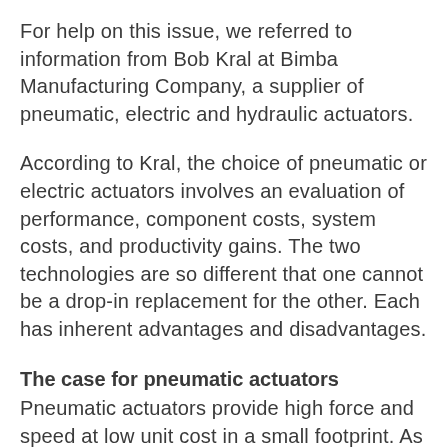For help on this issue, we referred to information from Bob Kral at Bimba Manufacturing Company, a supplier of pneumatic, electric and hydraulic actuators.
According to Kral, the choice of pneumatic or electric actuators involves an evaluation of performance, component costs, system costs, and productivity gains. The two technologies are so different that one cannot be a drop-in replacement for the other. Each has inherent advantages and disadvantages.
The case for pneumatic actuators
Pneumatic actuators provide high force and speed at low unit cost in a small footprint. As a matter of fact, pneumatic cylinders provide more force and speed per unit size than any